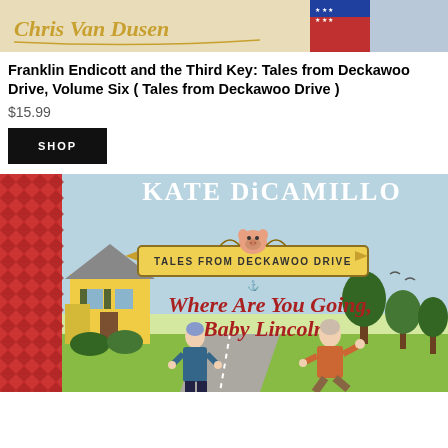[Figure (photo): Top portion of a book cover showing 'Chris Van Dusen' text in cursive style with partial illustration]
Franklin Endicott and the Third Key: Tales from Deckawoo Drive, Volume Six ( Tales from Deckawoo Drive )
$15.99
SHOP
[Figure (illustration): Book cover for 'Where Are You Going, Baby Lincoln?' by Kate DiCamillo - Tales from Deckawoo Drive series. Features colorful illustrated cover with two older women characters on a suburban street, a yellow house, trees, and a pig peeking from a banner. Red diamond pattern border on left side.]